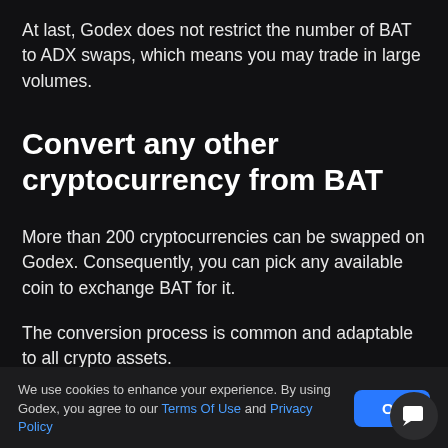At last, Godex does not restrict the number of BAT to ADX swaps, which means you may trade in large volumes.
Convert any other cryptocurrency from BAT
More than 200 cryptocurrencies can be swapped on Godex. Consequently, you can pick any available coin to exchange BAT for it.
The conversion process is common and adaptable to all crypto assets.
Regardless of the picked cryptocurrency, exchanging with Godex... most importantly
We use cookies to enhance your experience. By using Godex, you agree to our Terms Of Use and Privacy Policy